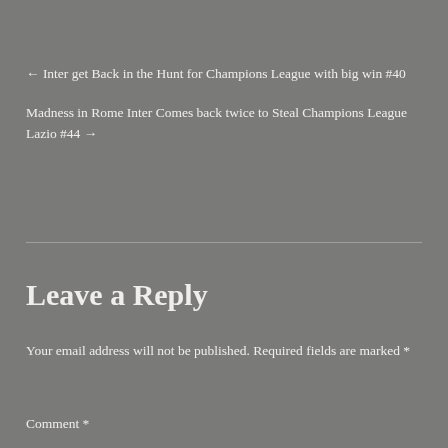← Inter get Back in the Hunt for Champions League with big win #40
Madness in Rome Inter Comes back twice to Steal Champions League Lazio #44 →
Leave a Reply
Your email address will not be published. Required fields are marked *
Comment *